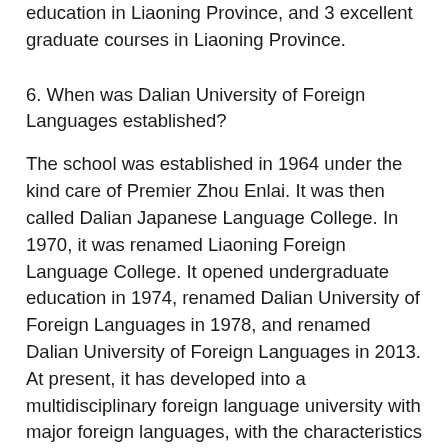education in Liaoning Province, and 3 excellent graduate courses in Liaoning Province.
6. When was Dalian University of Foreign Languages established?
The school was established in 1964 under the kind care of Premier Zhou Enlai. It was then called Dalian Japanese Language College. In 1970, it was renamed Liaoning Foreign Language College. It opened undergraduate education in 1974, renamed Dalian University of Foreign Languages in 1978, and renamed Dalian University of Foreign Languages in 2013. At present, it has developed into a multidisciplinary foreign language university with major foreign languages, with the characteristics of